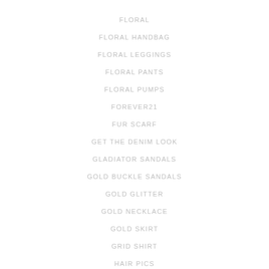FLORAL
FLORAL HANDBAG
FLORAL LEGGINGS
FLORAL PANTS
FLORAL PUMPS
FOREVER21
FUR SCARF
GET THE DENIM LOOK
GLADIATOR SANDALS
GOLD BUCKLE SANDALS
GOLD GLITTER
GOLD NECKLACE
GOLD SKIRT
GRID SHIRT
HAIR PICS